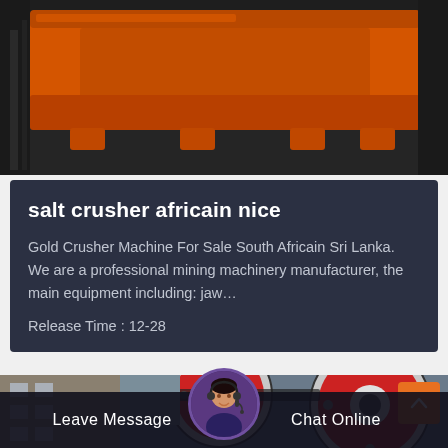[Figure (photo): Orange industrial crushing/mining machine equipment on a dark workshop floor]
salt crusher africain nice
Gold Crusher Machine For Sale South Africain Sri Lanka. We are a professional mining machinery manufacturer, the main equipment including: jaw…
Release Time : 12-28
[Figure (photo): Industrial machinery with large red and white circular wheels/rollers in a factory setting]
Leave Message
Chat Online